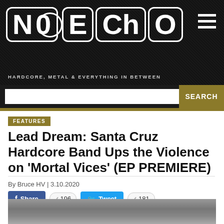NO ECHO — HARDCORE, METAL & EVERYTHING IN BETWEEN
FEATURES
Lead Dream: Santa Cruz Hardcore Band Ups the Violence on 'Mortal Vices' (EP PREMIERE)
By Bruce HV | 3.10.2020
Share 196  Tweet 181
[Figure (photo): Black and white photo partially visible at bottom of page]